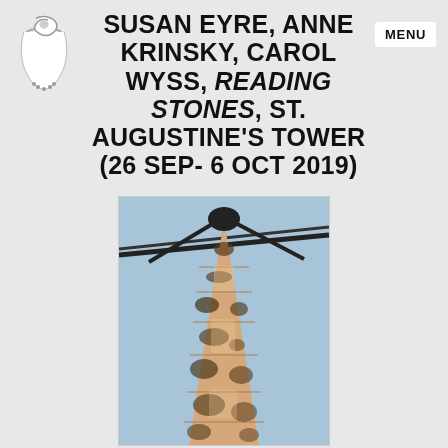SUSAN EYRE, ANNE KRINSKY, CAROL WYSS, READING STONES, ST. AUGUSTINE'S TOWER (26 SEP- 6 OCT 2019)
[Figure (photo): Looking up at a stone tower from below, showing weathered stone masonry with dark lichen patterns, converging against a pale blue sky with thin cables or wires crossing diagonally at the top.]